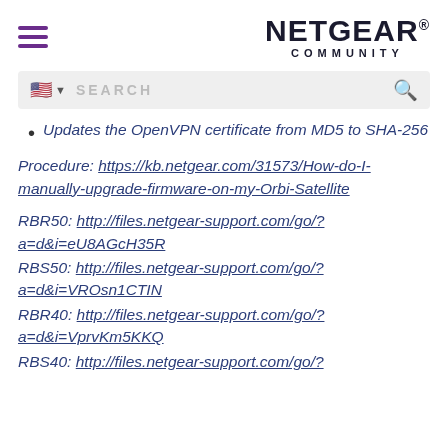NETGEAR COMMUNITY
[Figure (screenshot): Search bar with US flag icon and search text]
Updates the OpenVPN certificate from MD5 to SHA-256
Procedure: https://kb.netgear.com/31573/How-do-I-manually-upgrade-firmware-on-my-Orbi-Satellite
RBR50: http://files.netgear-support.com/go/?a=d&i=eU8AGcH35R
RBS50: http://files.netgear-support.com/go/?a=d&i=VROsn1CTIN
RBR40: http://files.netgear-support.com/go/?a=d&i=VprvKm5KKQ
RBS40: http://files.netgear-support.com/go/?